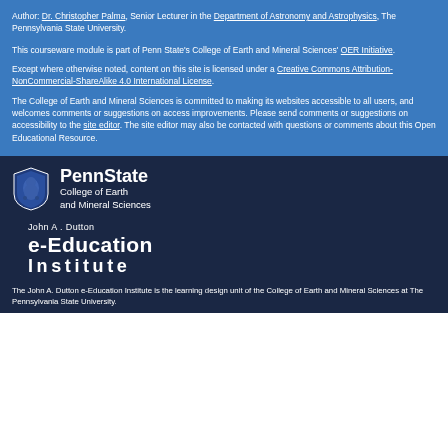Author: Dr. Christopher Palma, Senior Lecturer in the Department of Astronomy and Astrophysics, The Pennsylvania State University.
This courseware module is part of Penn State's College of Earth and Mineral Sciences' OER Initiative.
Except where otherwise noted, content on this site is licensed under a Creative Commons Attribution-NonCommercial-ShareAlike 4.0 International License.
The College of Earth and Mineral Sciences is committed to making its websites accessible to all users, and welcomes comments or suggestions on access improvements. Please send comments or suggestions on accessibility to the site editor. The site editor may also be contacted with questions or comments about this Open Educational Resource.
[Figure (logo): Penn State College of Earth and Mineral Sciences shield logo with lion and text]
[Figure (logo): John A. Dutton e-Education Institute logo text]
The John A. Dutton e-Education Institute is the learning design unit of the College of Earth and Mineral Sciences at The Pennsylvania State University.